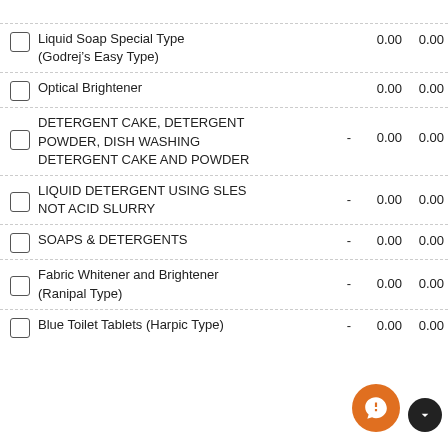Liquid Soap Special Type (Godrej's Easy Type) 0.00 0.00
Optical Brightener 0.00 0.00
DETERGENT CAKE, DETERGENT POWDER, DISH WASHING DETERGENT CAKE AND POWDER - 0.00 0.00
LIQUID DETERGENT USING SLES NOT ACID SLURRY - 0.00 0.00
SOAPS & DETERGENTS - 0.00 0.00
Fabric Whitener and Brightener (Ranipal Type) - 0.00 0.00
Blue Toilet Tablets (Harpic Type) - 0.00 0.00